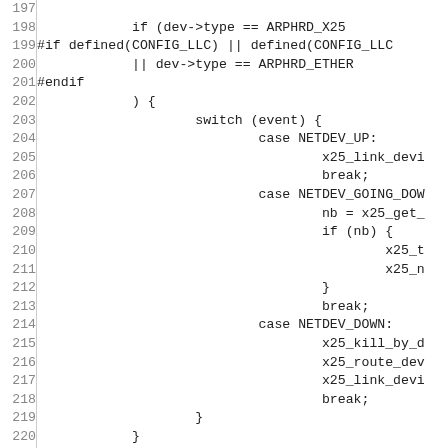Source code listing lines 197-227, C kernel code involving network device event handling with switch statement on NETDEV_UP, NETDEV_GOING_DOWN, NETDEV_DOWN cases.